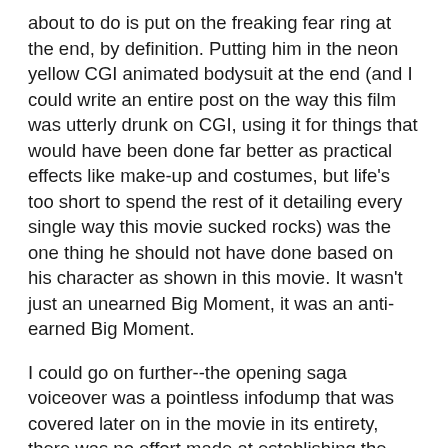about to do is put on the freaking fear ring at the end, by definition. Putting him in the neon yellow CGI animated bodysuit at the end (and I could write an entire post on the way this film was utterly drunk on CGI, using it for things that would have been done far better as practical effects like make-up and costumes, but life's too short to spend the rest of it detailing every single way this movie sucked rocks) was the one thing he should not have done based on his character as shown in this movie. It wasn't just an unearned Big Moment, it was an anti-earned Big Moment.
I could go on further--the opening saga voiceover was a pointless infodump that was covered later on in the movie in its entirety, there was no effort made at establishing the Guardians as actual guardians of the universe that people would listen to (the seemingly endless number of Guardian heel-turns only ever worked because they first grounded the Guardians as examples of the Wise Mentor archetype and then showed that they had a dark side), Abin Sur still had a spaceship even though there have been no less than two stories written in response to the question, "Why is a Green Lantern flying a spaceship anyway?", there's a criminally